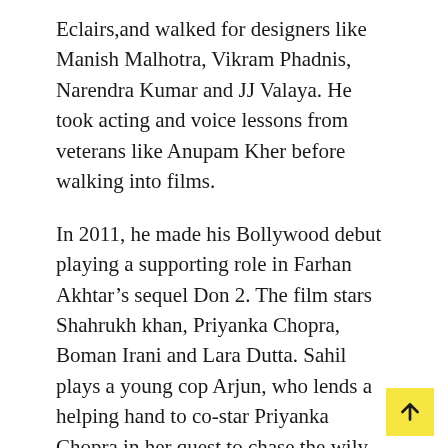Eclairs,and walked for designers like Manish Malhotra, Vikram Phadnis, Narendra Kumar and JJ Valaya. He took acting and voice lessons from veterans like Anupam Kher before walking into films.
In 2011, he made his Bollywood debut playing a supporting role in Farhan Akhtar’s sequel Don 2. The film stars Shahrukh khan, Priyanka Chopra, Boman Irani and Lara Dutta. Sahil plays a young cop Arjun, who lends a helping hand to co-star Priyanka Chopra in her quest to chase the wily antagonist.
In 2021, he participated in Bigg Boss 15 as a contestant